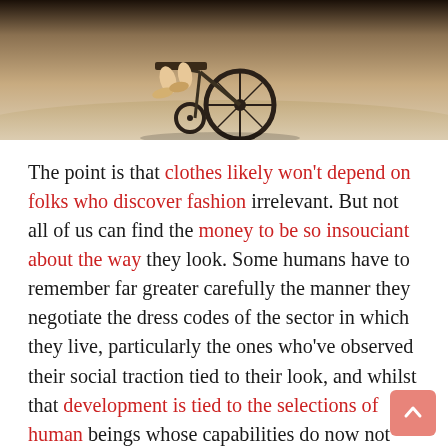[Figure (photo): Partial photograph showing a person in a wheelchair, cropped to show mainly the wheel and the person's legs/shoes, with a warm beige/tan background.]
The point is that clothes likely won't depend on folks who discover fashion irrelevant. But not all of us can find the money to be so insouciant about the way they look. Some humans have to remember far greater carefully the manner they negotiate the dress codes of the sector in which they live, particularly the ones who've observed their social traction tied to their look, and whilst that development is tied to the selections of human beings whose capabilities do now not mirror their very own. In those conditions, what we wear, and the models we undertake emerge as a long way greater complex. Certainly, once I'm in a room complete with senior male friends, I do not forget my garments very